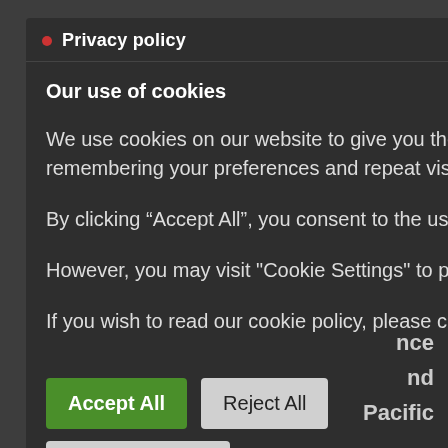Privacy policy
Our use of cookies
We use cookies on our website to give you the most relevant experience by remembering your preferences and repeat visits.
By clicking “Accept All”, you consent to the use of ALL the cookies.
However, you may visit "Cookie Settings" to provide a controlled consent.
If you wish to read our cookie policy, please click here
Accept All
Reject All
Cookie Settings
nce
nd
Pacific